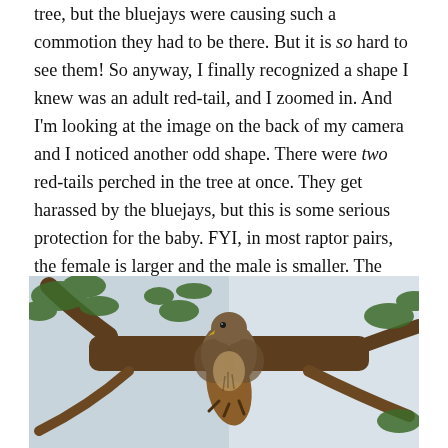tree, but the bluejays were causing such a commotion they had to be there. But it is so hard to see them! So anyway, I finally recognized a shape I knew was an adult red-tail, and I zoomed in. And I'm looking at the image on the back of my camera and I noticed another odd shape. There were two red-tails perched in the tree at once. They get harassed by the bluejays, but this is some serious protection for the baby. FYI, in most raptor pairs, the female is larger and the male is smaller. The female is above and in the back in this picture. The male is down lower. Male raptors are often referred to as “tercels.” They’re around a third smaller than females:
[Figure (photo): A hawk (red-tailed hawk) perched in a pine tree with branches and pine needles visible, sky in the background]